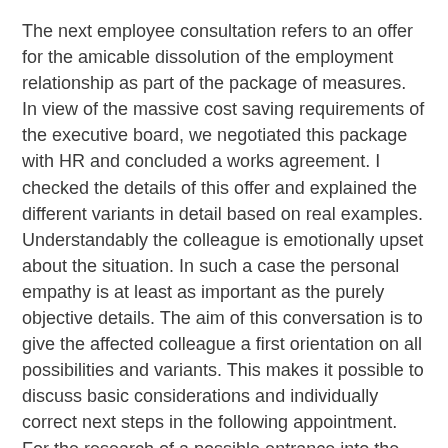The next employee consultation refers to an offer for the amicable dissolution of the employment relationship as part of the package of measures. In view of the massive cost saving requirements of the executive board, we negotiated this package with HR and concluded a works agreement. I checked the details of this offer and explained the different variants in detail based on real examples. Understandably the colleague is emotionally upset about the situation. In such a case the personal empathy is at least as important as the purely objective details. The aim of this conversation is to give the affected colleague a first orientation on all possibilities and variants. This makes it possible to discuss basic considerations and individually correct next steps in the following appointment. For the research of a possible entrance into the new industry labour foundation, I sent him the phone number and email address of our contact person on the spot and of course an invitation for a follow-up appointment.
11 a.m. – a precision landing, the next colleague is already waiting for consultation. The newly introduced job grading has caused uncertainty. The new classification is not clearly understandable for